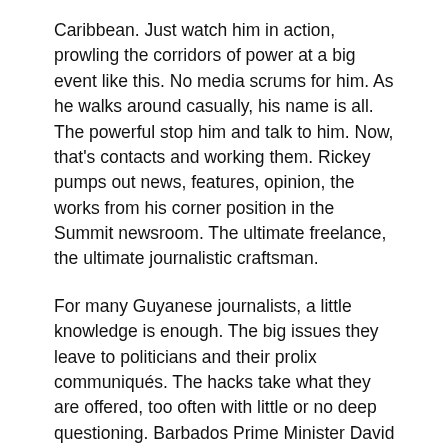Caribbean. Just watch him in action, prowling the corridors of power at a big event like this. No media scrums for him. As he walks around casually, his name is all. The powerful stop him and talk to him. Now, that's contacts and working them. Rickey pumps out news, features, opinion, the works from his corner position in the Summit newsroom. The ultimate freelance, the ultimate journalistic craftsman.
For many Guyanese journalists, a little knowledge is enough. The big issues they leave to politicians and their prolix communiqués. The hacks take what they are offered, too often with little or no deep questioning. Barbados Prime Minister David Thompson was given a very easy ride in a press conference he called after facing criticism for an exercise in 'ethnic cleansing'. It's not a pretty sight to see how easily young journalists can be kept happy.
There we have it; experience against naivety, age against youth, solo against the pack. This is Georgetown but it could